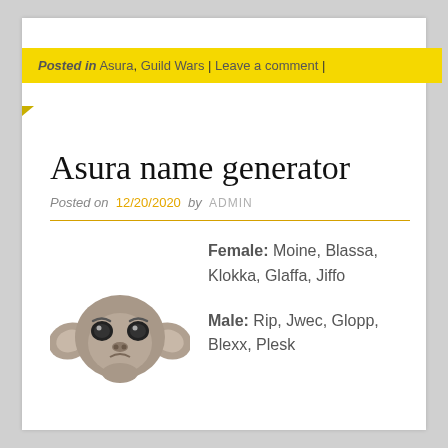Posted in Asura, Guild Wars | Leave a comment |
Asura name generator
Posted on 12/20/2020 by ADMIN
[Figure (illustration): Hand-drawn illustration of an Asura character face — a small creature with large ears, big expressive eyes, and a grey/dark coloring, depicted from the front/slight angle.]
Female: Moine, Blassa, Klokka, Glaffa, Jiffo
Male: Rip, Jwec, Glopp, Blexx, Plesk